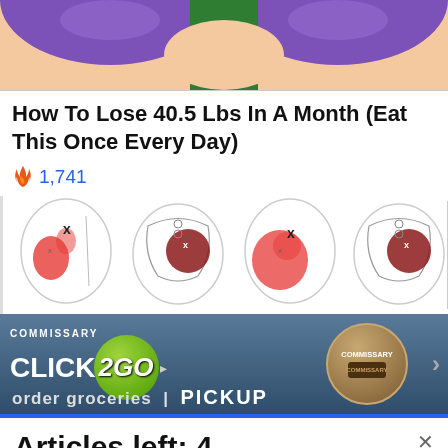[Figure (illustration): Top portion of cartoon illustration showing a figure in purple/green clothing, cropped at waist level]
How To Lose 40.5 Lbs In A Month (Eat This Once Every Day)
🔥 1,741
[Figure (illustration): Medical illustration showing four panels of human torso and pelvis anatomy with red highlighted pain areas and skeletal views]
[Figure (other): Advertisement banner for Commissary Click2Go with green circular logo and Commissary badge, text reads 'order groceries | PICKUP']
Articles left: 4
Subscribe to get unlimited access  Subscribe
Already have an account?  Login here